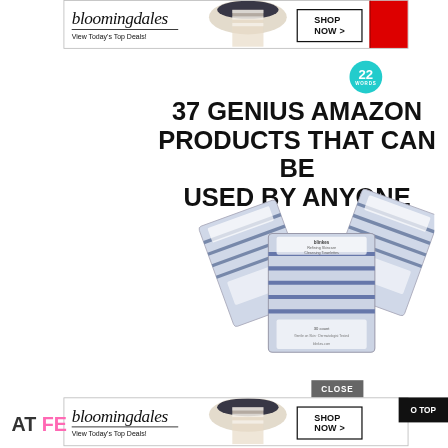[Figure (screenshot): Bloomingdale's advertisement banner at top of page. Shows bloomingdales logo in italic serif font, tagline 'View Today's Top Deals!', woman in wide-brim hat, SHOP NOW > button, and red accent block on right.]
[Figure (logo): 22 WORDS circular teal badge logo]
37 GENIUS AMAZON PRODUCTS THAT CAN BE USED BY ANYONE
[Figure (photo): Product photo: multiple packages of Burt's Bees or similar branded facial cleansing towelettes in blue/white chevron print packaging, stacked together]
[Figure (screenshot): CLOSE button in grey]
[Figure (screenshot): Bloomingdale's advertisement banner at bottom. Same as top banner with SHOP NOW > button.]
[Figure (screenshot): Black 'O TOP' / Back to Top button on right side]
AT FE